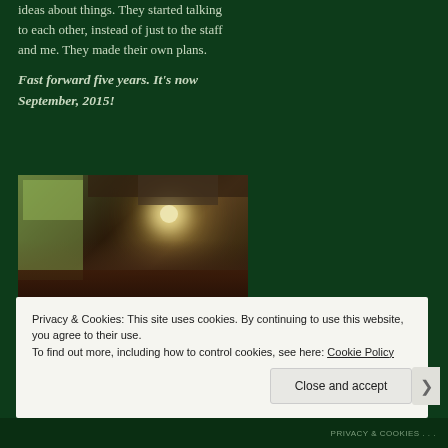ideas about things. They started talking to each other, instead of just to the staff and me. They made their own plans.
Fast forward five years. It's now September, 2015!
[Figure (photo): Two people sitting on a couch with a dog, in a living room with a lamp and bookshelves in the background]
Privacy & Cookies: This site uses cookies. By continuing to use this website, you agree to their use.
To find out more, including how to control cookies, see here: Cookie Policy
Close and accept